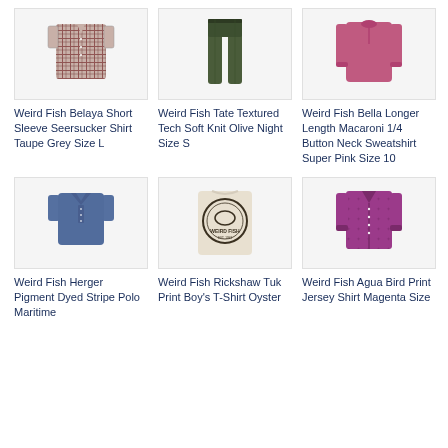[Figure (photo): Weird Fish Belaya Short Sleeve Seersucker Shirt Taupe Grey - plaid/checkered short sleeve shirt]
Weird Fish Belaya Short Sleeve Seersucker Shirt Taupe Grey Size L
[Figure (photo): Weird Fish Tate Textured Tech Soft Knit Olive Night - dark olive long trousers]
Weird Fish Tate Textured Tech Soft Knit Olive Night Size S
[Figure (photo): Weird Fish Bella Longer Length Macaroni 1/4 Button Neck Sweatshirt Super Pink - pink sweatshirt]
Weird Fish Bella Longer Length Macaroni 1/4 Button Neck Sweatshirt Super Pink Size 10
[Figure (photo): Weird Fish Herger Pigment Dyed Stripe Polo Maritime - blue polo shirt]
Weird Fish Herger Pigment Dyed Stripe Polo Maritime
[Figure (photo): Weird Fish Rickshaw Tuk Print Boy's T-Shirt Oyster - logo graphic tee]
Weird Fish Rickshaw Tuk Print Boy's T-Shirt Oyster
[Figure (photo): Weird Fish Agua Bird Print Jersey Shirt Magenta - purple patterned shirt]
Weird Fish Agua Bird Print Jersey Shirt Magenta Size